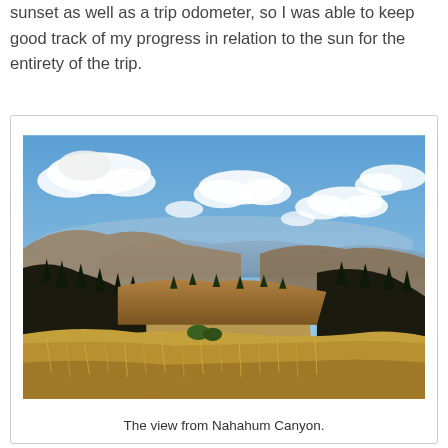sunset as well as a trip odometer, so I was able to keep good track of my progress in relation to the sun for the entirety of the trip.
[Figure (photo): Landscape photograph showing a mountain canyon view with golden grasslands in the foreground, dark conifer-covered hillsides on both sides, mountain ridges receding into the distance, and a blue sky with white clouds above. This is the view from Nahahum Canyon.]
The view from Nahahum Canyon.